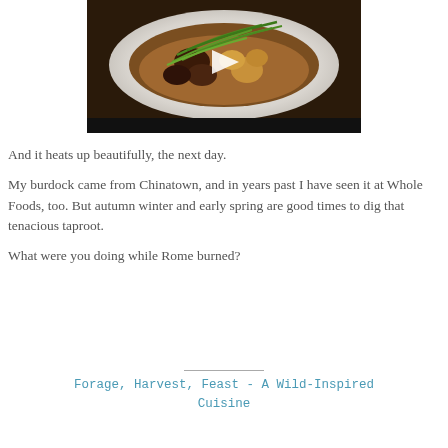[Figure (photo): A bowl of braised meat dish with green onions/scallions garnish in a brown sauce, shown as a video thumbnail with a white play button triangle overlay. Below the image is a black video control bar.]
And it heats up beautifully, the next day.
My burdock came from Chinatown, and in years past I have seen it at Whole Foods, too. But autumn winter and early spring are good times to dig that tenacious taproot.
What were you doing while Rome burned?
Forage, Harvest, Feast - A Wild-Inspired Cuisine